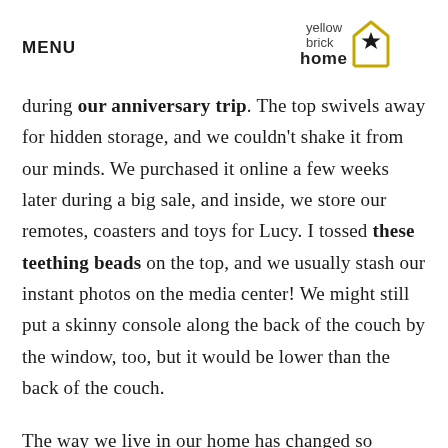MENU | yellow brick home (logo)
during our anniversary trip. The top swivels away for hidden storage, and we couldn't shake it from our minds. We purchased it online a few weeks later during a big sale, and inside, we store our remotes, coasters and toys for Lucy. I tossed these teething beads on the top, and we usually stash our instant photos on the media center! We might still put a skinny console along the back of the couch by the window, too, but it would be lower than the back of the couch.
The way we live in our home has changed so drastically, it's almost hard to imagine this room configured any other way! We've been teaching